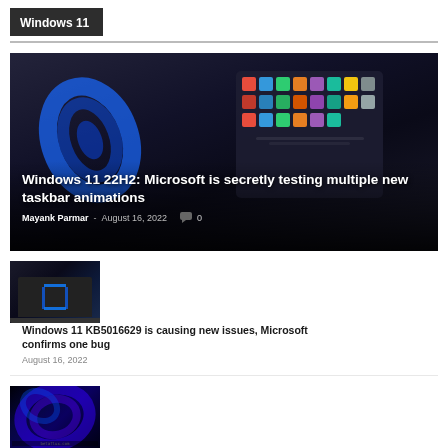Windows 11
[Figure (photo): Laptop showing Windows 11 Start Menu with app icons on dark background with blue Windows logo]
Windows 11 22H2: Microsoft is secretly testing multiple new taskbar animations
Mayank Parmar - August 16, 2022  0
[Figure (photo): Laptop with Windows 11 blue logo on gray background]
Windows 11 KB5016629 is causing new issues, Microsoft confirms one bug
August 16, 2022
[Figure (photo): Dark blue abstract wallpaper for Windows 11]
Mysterious Windows 11 taskbar with rounded corners show up in preview, but it could be a bug
August 5, 2022